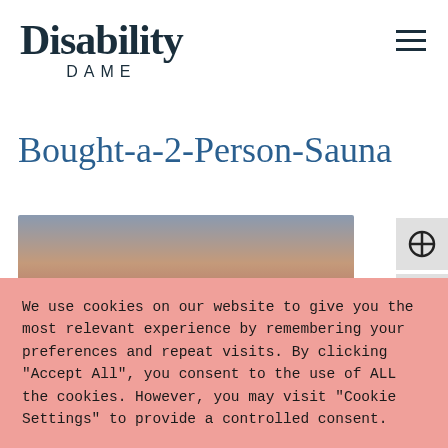Disability DAME
Bought-a-2-Person-Sauna
[Figure (photo): Blurred image with gradient colors of blue-grey, peach, and muted red tones, serving as a background image beneath the cookie consent banner.]
We use cookies on our website to give you the most relevant experience by remembering your preferences and repeat visits. By clicking "Accept All", you consent to the use of ALL the cookies. However, you may visit "Cookie Settings" to provide a controlled consent.
Cookie Settings | Accept All